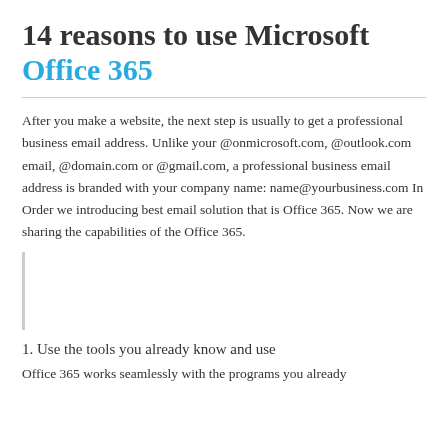14 reasons to use Microsoft Office 365
After you make a website, the next step is usually to get a professional business email address. Unlike your @onmicrosoft.com, @outlook.com email, @domain.com or @gmail.com, a professional business email address is branded with your company name: name@yourbusiness.com In Order we introducing best email solution that is Office 365. Now we are sharing the capabilities of the Office 365.
1. Use the tools you already know and use
Office 365 works seamlessly with the programs you already